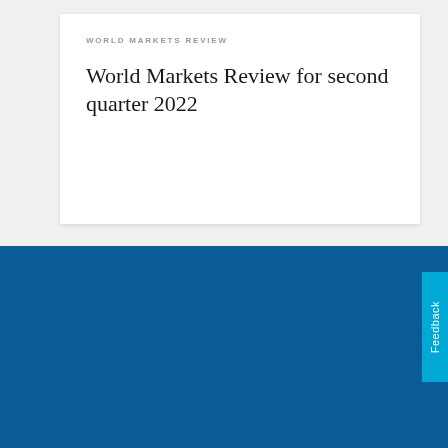WORLD MARKETS REVIEW
World Markets Review for second quarter 2022
Don't miss out
Get the Capital Ideas newsletter in your inbox every other week
FIRST NAME